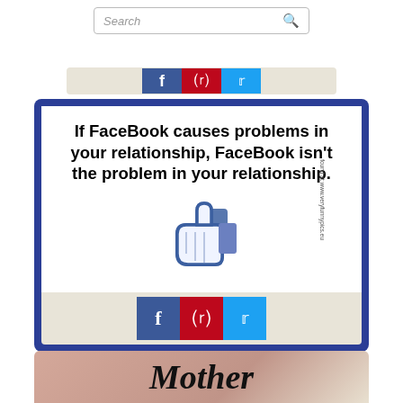[Figure (screenshot): Search bar at top of webpage with placeholder text 'Search' and magnifying glass icon]
[Figure (screenshot): Social share buttons strip (Facebook, Pinterest, Twitter) partially visible at top]
[Figure (illustration): Meme card with dark blue border and white background. Text reads: 'If FaceBook causes problems in your relationship, FaceBook isn't the problem in your relationship.' with a thumbs-down icon below. Social share buttons (Facebook, Pinterest, Twitter) at bottom. Watermark text on right side: 'found at www.veryfunnypics.eu']
[Figure (photo): Partial view of a pink/beige decorative card with cursive text beginning 'Mother...' at the bottom of the page]